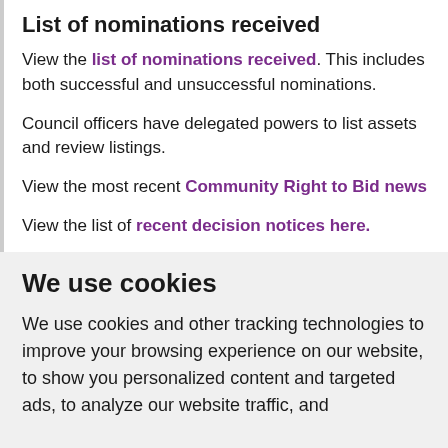List of nominations received
View the list of nominations received. This includes both successful and unsuccessful nominations.
Council officers have delegated powers to list assets and review listings.
View the most recent Community Right to Bid news
View the list of recent decision notices here.
We use cookies
We use cookies and other tracking technologies to improve your browsing experience on our website, to show you personalized content and targeted ads, to analyze our website traffic, and